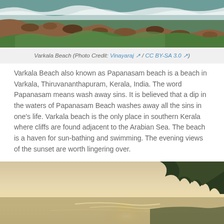[Figure (photo): Aerial view of Varkala Beach showing rocky cliffs, ocean waves, and green vegetation]
Varkala Beach (Photo Credit: Vinayaraj / CC BY-SA 3.0)
Varkala Beach also known as Papanasam beach is a beach in Varkala, Thiruvananthapuram, Kerala, India. The word Papanasam means wash away sins. It is believed that a dip in the waters of Papanasam Beach washes away all the sins in one's life. Varkala beach is the only place in southern Kerala where cliffs are found adjacent to the Arabian Sea. The beach is a haven for sun-bathing and swimming. The evening views of the sunset are worth lingering over.
[Figure (photo): Sunset view over the Arabian Sea at Varkala Beach with trees silhouetted on the right]